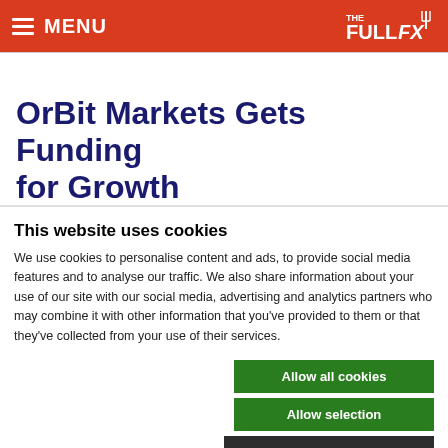MENU | THE FULL FX
OrBit Markets Gets Funding for Growth
This website uses cookies
We use cookies to personalise content and ads, to provide social media features and to analyse our traffic. We also share information about your use of our site with our social media, advertising and analytics partners who may combine it with other information that you've provided to them or that they've collected from your use of their services.
Allow all cookies
Allow selection
Use necessary cookies only
Necessary | Preferences | Statistics | Marketing | Show details